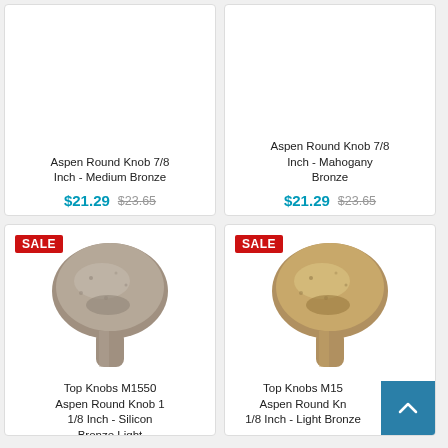Aspen Round Knob 7/8 Inch - Medium Bronze
$21.29  $23.65
Aspen Round Knob 7/8 Inch - Mahogany Bronze
$21.29  $23.65
[Figure (photo): Round cabinet knob in Silicon Bronze Light finish with SALE badge]
Top Knobs M1550 Aspen Round Knob 1 1/8 Inch - Silicon Bronze Light
$23.76  $26.40
[Figure (photo): Round cabinet knob in Light Bronze finish with SALE badge]
Top Knobs M1550 Aspen Round Knob 1 1/8 Inch - Light Bronze
$23.76  $26.40